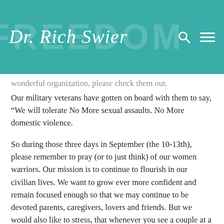Dr. Rich Swier
wonderful organization, please check them out. Our military veterans have gotten on board with them to say, “We will tolerate No More sexual assaults.  No More domestic violence.
So during those three days in September (the 10-13th), please remember to pray (or to just think) of our women warriors.  Our mission is to continue to flourish in our civilian lives.  We want to grow ever more confident and remain focused enough so that we may continue to be devoted parents, caregivers, lovers and friends.  But we  would also like to stress, that whenever you see a couple at a military function, please